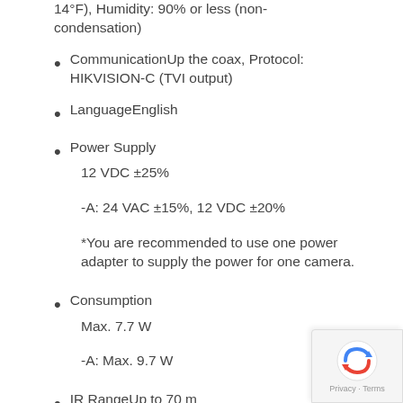14°F), Humidity: 90% or less (non-condensation)
CommunicationUp the coax, Protocol: HIKVISION-C (TVI output)
LanguageEnglish
Power Supply
12 VDC ±25%
-A: 24 VAC ±15%, 12 VDC ±20%
*You are recommended to use one power adapter to supply the power for one camera.
Consumption
Max. 7.7 W
-A: Max. 9.7 W
IR RangeUp to 70 m
[Figure (logo): reCAPTCHA logo with Privacy and Terms text]